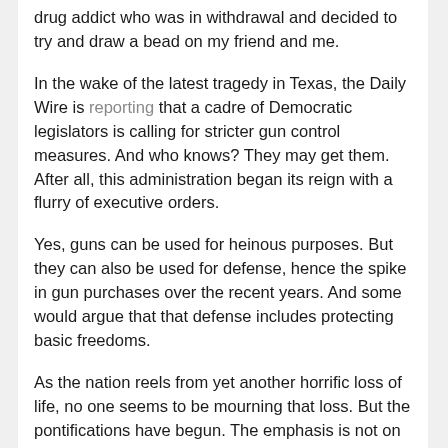drug addict who was in withdrawal and decided to try and draw a bead on my friend and me.
In the wake of the latest tragedy in Texas, the Daily Wire is reporting that a cadre of Democratic legislators is calling for stricter gun control measures. And who knows? They may get them. After all, this administration began its reign with a flurry of executive orders.
Yes, guns can be used for heinous purposes. But they can also be used for defense, hence the spike in gun purchases over the recent years. And some would argue that that defense includes protecting basic freedoms.
As the nation reels from yet another horrific loss of life, no one seems to be mourning that loss. But the pontifications have begun. The emphasis is not on the